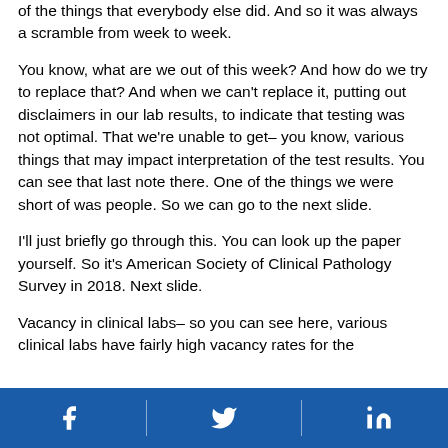of the things that everybody else did. And so it was always a scramble from week to week.
You know, what are we out of this week? And how do we try to replace that? And when we can't replace it, putting out disclaimers in our lab results, to indicate that testing was not optimal. That we're unable to get– you know, various things that may impact interpretation of the test results. You can see that last note there. One of the things we were short of was people. So we can go to the next slide.
I'll just briefly go through this. You can look up the paper yourself. So it's American Society of Clinical Pathology Survey in 2018. Next slide.
Vacancy in clinical labs– so you can see here, various clinical labs have fairly high vacancy rates for the
Facebook | Twitter | LinkedIn